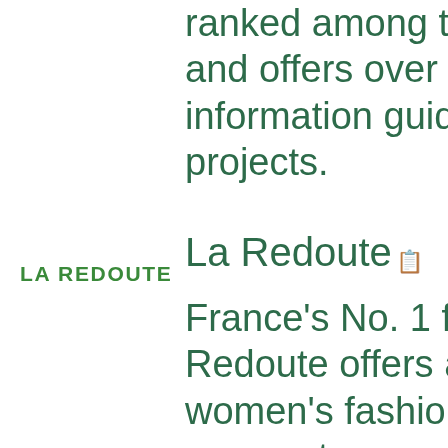ranked among the and offers over 3 m information guides projects.
[Figure (logo): La Redoute logo — bold green uppercase text reading LA REDOUTE]
La Redoute
France's No. 1 fash Redoute offers an e women's fashion. T women too - your fa la difference. Adora childrenswear, and ranges. We also of